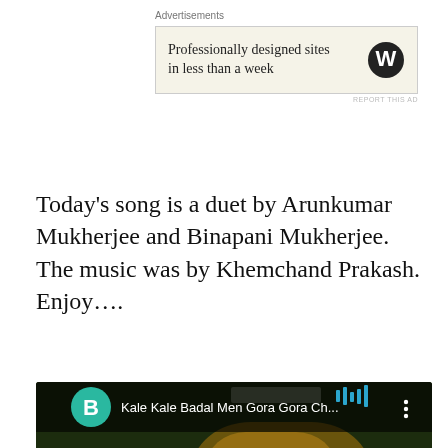Advertisements
[Figure (screenshot): WordPress advertisement banner: 'Professionally designed sites in less than a week' with WordPress logo]
Today's song is a duet by Arunkumar Mukherjee and Binapani Mukherjee. The music was by Khemchand Prakash. Enjoy….
[Figure (screenshot): YouTube video embed showing 'Kale Kale Badal Men Gora Gora Ch...' with play button, channel avatar B, and dark landscape background]
Advertisements
[Figure (screenshot): P2 advertisement: 'Getting your team on the same page is easy. And free.' with P2 logo]